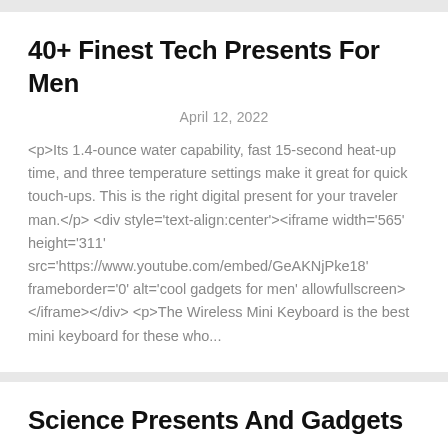40+ Finest Tech Presents For Men
April 12, 2022
<p>Its 1.4-ounce water capability, fast 15-second heat-up time, and three temperature settings make it great for quick touch-ups. This is the right digital present for your traveler man.</p> <div style='text-align:center'><iframe width='565' height='311' src='https://www.youtube.com/embed/GeAKNjPke18' frameborder='0' alt='cool gadgets for men' allowfullscreen> </iframe></div> <p>The Wireless Mini Keyboard is the best mini keyboard for these who...
Science Presents And Gadgets
January 21, 2022
<p>The Aorus is powered by the most recent Nvidia SUPER graphics card, which is developed to deal with ray tracing, the